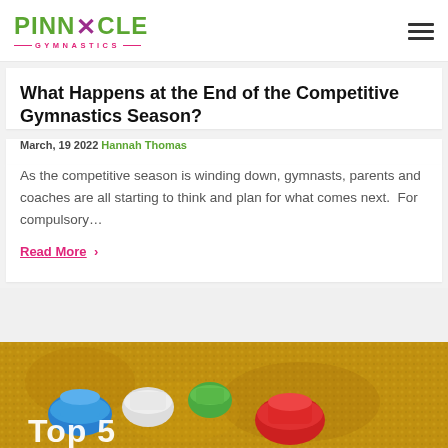PINNACLE GYMNASTICS
What Happens at the End of the Competitive Gymnastics Season?
March, 19 2022 Hannah Thomas
As the competitive season is winding down, gymnasts, parents and coaches are all starting to think and plan for what comes next.  For compulsory…
Read More >
[Figure (photo): Yellow/golden background with colorful plastic scoops (blue, white, green, red) in what appears to be a sensory bin with small round grains or beads. Partial text 'Top 5' overlaid in white at the bottom.]